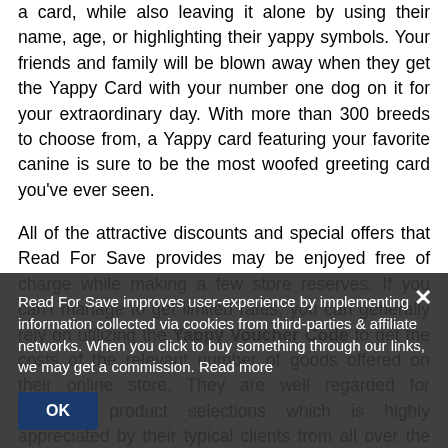a card, while also leaving it alone by using their name, age, or highlighting their yappy symbols. Your friends and family will be blown away when they get the Yappy Card with your number one dog on it for your extraordinary day. With more than 300 breeds to choose from, a Yappy card featuring your favorite canine is sure to be the most woofed greeting card you've ever seen.
All of the attractive discounts and special offers that Read For Save provides may be enjoyed free of charge while making a few store reserves. If you can't manage to get limited rates, you can generally rely on utilizing the Yappy Voucher Code to get the costs of the relevant number of goods offered on their online store. They are well regarded for providing product selections which is highly appreciated by their typical clients from all over the United Kingdom. To learn about the new arrangements and discounts they provide to valued customers, visit their online media site.
Read For Save improves user-experience by implementing information collected via cookies from third-parties & affiliate networks. When you click to buy something through our links, we may get a commission. Read more